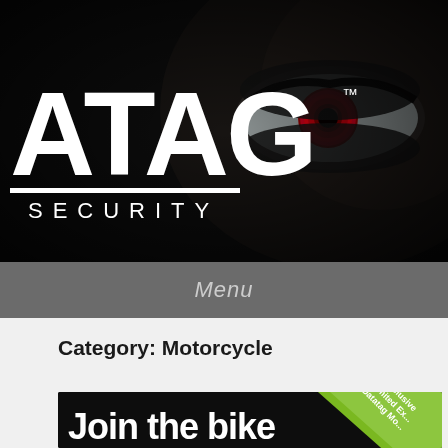[Figure (logo): Datatag Security logo — white bold letters 'ATAG' with partial 'D' cut off on left, 'SECURITY' below, on dark background with a dramatic close-up of an eye with red iris]
Menu
Category: Motorcycle
[Figure (illustration): Promotional banner with black background showing text 'Join the bike' in large white bold font, with a green diagonal ribbon in the top-right corner reading 'Exclusive', 'Limited Ex...', 'Datatag Mo...']